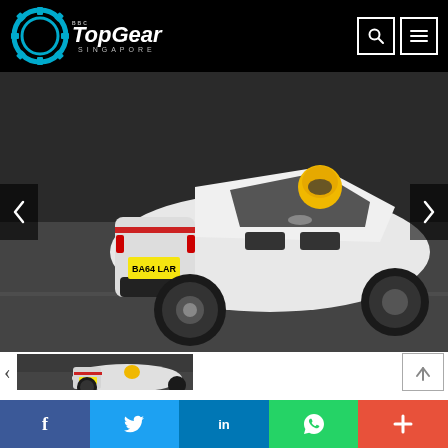Top Gear Singapore
[Figure (photo): White Aston Martin convertible sports car (licence plate BA64 LAR) photographed from rear-three-quarter angle while driving on a track, driver wearing a yellow helmet. Large carousel image.]
[Figure (photo): Thumbnail of the same white Aston Martin convertible sports car from rear three-quarter angle on the track.]
[Figure (other): Scroll-up navigation button with upward arrow inside a bordered box.]